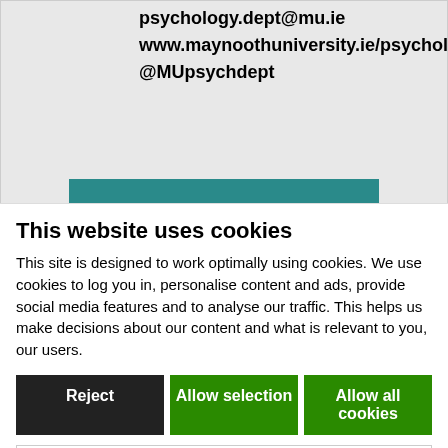psychology.dept@mu.ie
www.maynoothuniversity.ie/psychology
@MUpsychdept
How to Apply
This website uses cookies
This site is designed to work optimally using cookies. We use cookies to log you in, personalise content and ads, provide social media features and to analyse our traffic. This helps us make decisions about our content and what is relevant to you, our users.
Reject | Allow selection | Allow all cookies
Necessary | Preferences | Statistics | Marketing | Show details